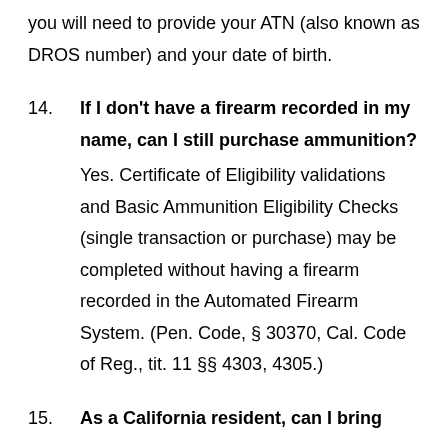you will need to provide your ATN (also known as DROS number) and your date of birth.
14. If I don't have a firearm recorded in my name, can I still purchase ammunition? Yes. Certificate of Eligibility validations and Basic Ammunition Eligibility Checks (single transaction or purchase) may be completed without having a firearm recorded in the Automated Firearm System. (Pen. Code, § 30370, Cal. Code of Reg., tit. 11 §§ 4303, 4305.)
15. As a California resident, can I bring